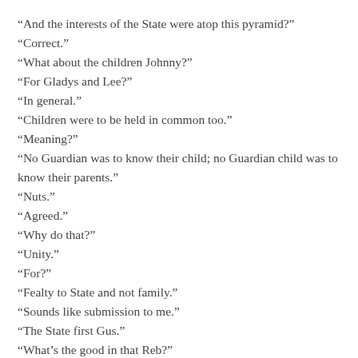“And the interests of the State were atop this pyramid?”
“Correct.”
“What about the children Johnny?”
“For Gladys and Lee?”
“In general.”
“Children were to be held in common too.”
“Meaning?”
“No Guardian was to know their child; no Guardian child was to know their parents.”
“Nuts.”
“Agreed.”
“Why do that?”
“Unity.”
“For?”
“Fealty to State and not family.”
“Sounds like submission to me.”
“The State first Gus.”
“What’s the good in that Reb?”